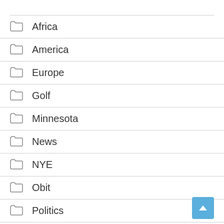Africa
America
Europe
Golf
Minnesota
News
NYE
Obit
Politics
Quickreads